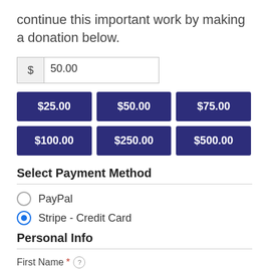continue this important work by making a donation below.
$ 50.00
$25.00
$50.00
$75.00
$100.00
$250.00
$500.00
Select Payment Method
PayPal
Stripe - Credit Card
Personal Info
First Name *